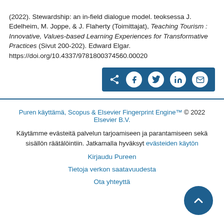(2022). Stewardship: an in-field dialogue model. teoksessa J. Edelheim, M. Joppe, & J. Flaherty (Toimittajat), Teaching Tourism : Innovative, Values-based Learning Experiences for Transformative Practices (Sivut 200-202). Edward Elgar. https://doi.org/10.4337/9781800374560.00020
[Figure (other): Social share buttons bar with icons for share, Facebook, Twitter, LinkedIn, and email on a dark blue background]
Puren käyttämä, Scopus & Elsevier Fingerprint Engine&trade © 2022 Elsevier B.V.
Käytämme evästeitä palvelun tarjoamiseen ja parantamiseen sekä sisällön räätälöintiin. Jatkamalla hyväksyt evästeiden käytön
Kirjaudu Pureen
Tietoja verkon saatavuudesta
Ota yhteyttä